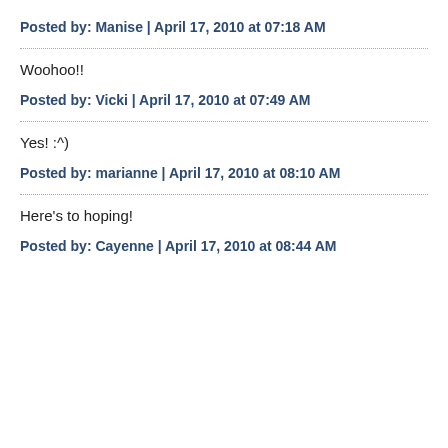Posted by: Manise | April 17, 2010 at 07:18 AM
Woohoo!!
Posted by: Vicki | April 17, 2010 at 07:49 AM
Yes! :^)
Posted by: marianne | April 17, 2010 at 08:10 AM
Here's to hoping!
Posted by: Cayenne | April 17, 2010 at 08:44 AM